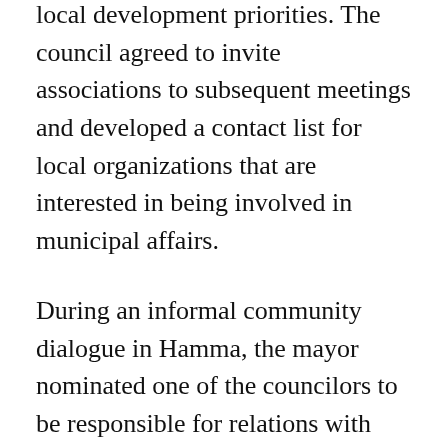local development priorities. The council agreed to invite associations to subsequent meetings and developed a contact list for local organizations that are interested in being involved in municipal affairs.
During an informal community dialogue in Hamma, the mayor nominated one of the councilors to be responsible for relations with civil society so that citizens and civic associations have a direct contact on the council.
According to Lemdani, “other municipalities have been calling to ask us to help organize the same sort of facilitated meetings with constituents in their own municipalities.  This